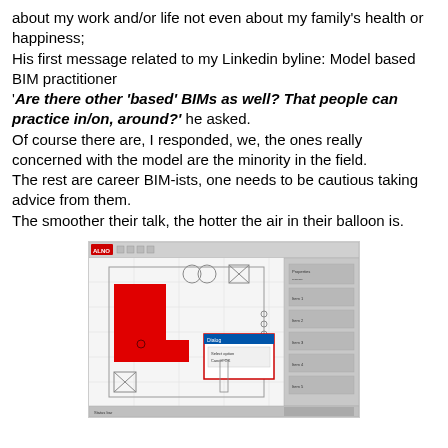about my work and/or life not even about my family's health or happiness;
His first message related to my Linkedin byline: Model based BIM practitioner
'Are there other 'based' BIMs as well? That people can practice in/on, around?' he asked.
Of course there are, I responded, we, the ones really concerned with the model are the minority in the field.
The rest are career BIM-ists, one needs to be cautious taking advice from them.
The smoother their talk, the hotter the air in their balloon is.
[Figure (screenshot): Screenshot of a BIM/CAD software (ALLPLAN or similar) showing a floor plan with a red L-shaped element, a dialog box in the center, and side panels with properties. The interface has a gray toolbar at top and status bar at bottom.]